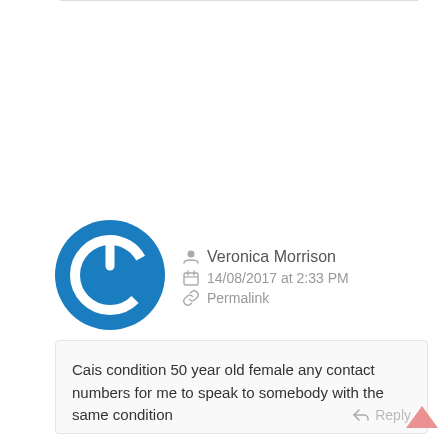[Figure (illustration): Blue circular power button icon used as user avatar]
Veronica Morrison
14/08/2017 at 2:33 PM
Permalink
Cais condition 50 year old female any contact numbers for me to speak to somebody with the same condition